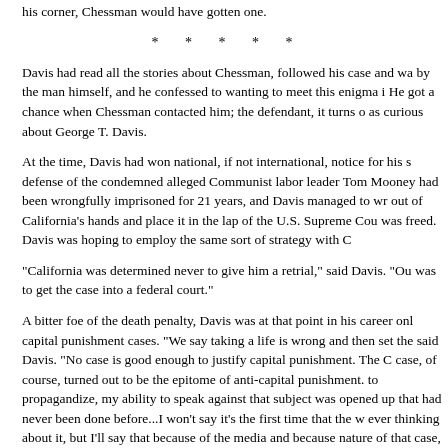his corner, Chessman would have gotten one.
* * * * *
Davis had read all the stories about Chessman, followed his case and was fascinated by the man himself, and he confessed to wanting to meet this enigma in person. He got a chance when Chessman contacted him; the defendant, it turns out, was just as curious about George T. Davis.
At the time, Davis had won national, if not international, notice for his successful defense of the condemned alleged Communist labor leader Tom Mooney, who had been wrongfully imprisoned for 21 years, and Davis managed to wrest the case out of California's hands and place it in the lap of the U.S. Supreme Court. Mooney was freed. Davis was hoping to employ the same sort of strategy with Chessman.
"California was determined never to give him a retrial," said Davis. "Our only hope was to get the case into a federal court."
A bitter foe of the death penalty, Davis was at that point in his career only taking capital punishment cases. "We say taking a life is wrong and then set the example," said Davis. "No case is good enough to justify capital punishment. The Chessman case, of course, turned out to be the epitome of anti-capital punishment. As a tool to propagandize, my ability to speak against that subject was opened up in a way that had never been done before...I won't say it's the first time that the world was ever thinking about it, but I'll say that because of the media and because of the nature of that case, I think that probably more people thought about capital punishment at that time than had ever thought about capital punishment before."